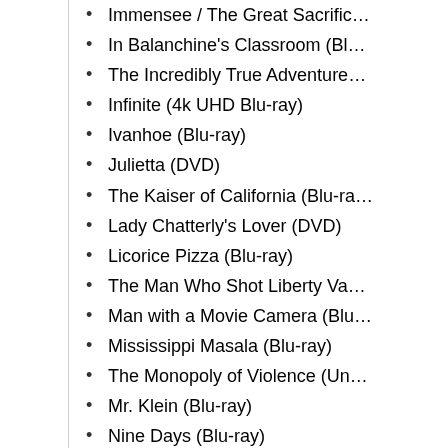Immensee / The Great Sacrifice
In Balanchine's Classroom (Bl…
The Incredibly True Adventure…
Infinite (4k UHD Blu-ray)
Ivanhoe (Blu-ray)
Julietta (DVD)
The Kaiser of California (Blu-ra…
Lady Chatterly's Lover (DVD)
Licorice Pizza (Blu-ray)
The Man Who Shot Liberty Va…
Man with a Movie Camera (Blu…
Mississippi Masala (Blu-ray)
The Monopoly of Violence (Un…
Mr. Klein (Blu-ray)
Nine Days (Blu-ray)
One Armed Boxer (Blu-ray)
Parallel Mothers (Blu-ray)
Playground (DVD)
Port of Freedom (Blu-ray)
Robocop UHD Steelbook [Lim…
Rogue Cops And Racketeers: (Blu-ray)
Row 19 (Blu-ray)